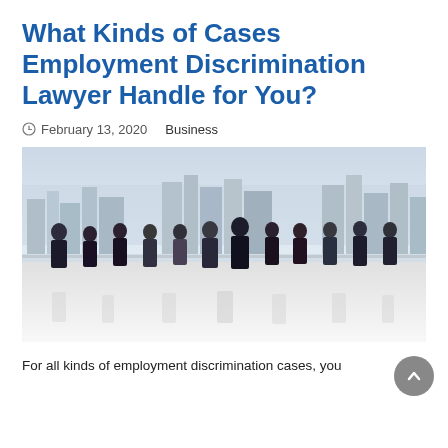What Kinds of Cases Employment Discrimination Lawyer Handle for You?
February 13, 2020   Business
[Figure (photo): Group of approximately 12 professional lawyers in formal business attire standing in a line outdoors with a city skyline in the background]
For all kinds of employment discrimination cases, you